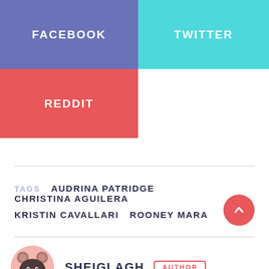[Figure (other): Facebook share button — purple/blue rectangle with white bold uppercase text FACEBOOK]
[Figure (other): Twitter share button — cyan rectangle with white bold uppercase text TWITTER]
[Figure (other): Reddit share button — red/pink rectangle with white bold uppercase text REDDIT]
TAGS  AUDRINA PATRIDGE  CHRISTINA AGUILERA  KRISTIN CAVALLARI  ROONEY MARA
[Figure (other): Back to top button — red circle with white upward chevron arrow]
SHEIGLAGH  AUTHOR